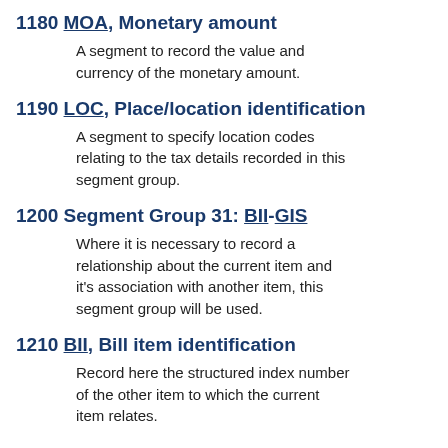1180 MOA, Monetary amount
A segment to record the value and currency of the monetary amount.
1190 LOC, Place/location identification
A segment to specify location codes relating to the tax details recorded in this segment group.
1200 Segment Group 31: BII-GIS
Where it is necessary to record a relationship about the current item and it's association with another item, this segment group will be used.
1210 BII, Bill item identification
Record here the structured index number of the other item to which the current item relates.